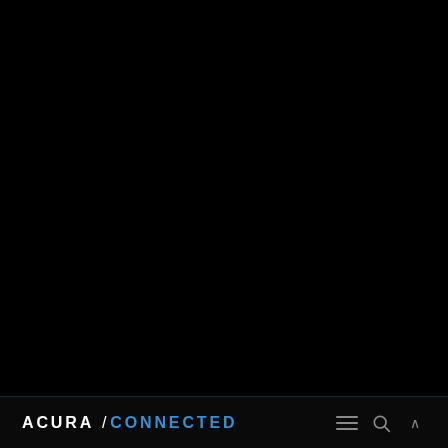[Figure (screenshot): Dark/black background filling most of the page, representing a darkened vehicle or nighttime automotive scene.]
ACURA /CONNECTED  ≡ 🔍 ∧